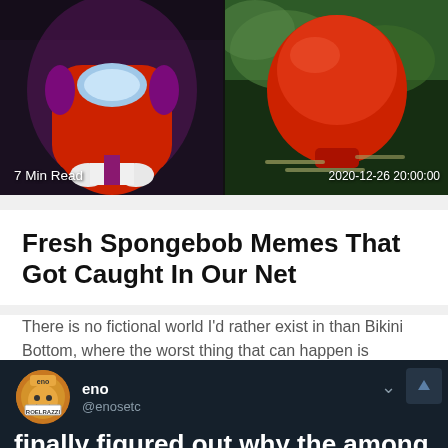[Figure (illustration): Two-panel image: left panel shows a red Among Us character, right panel shows a red boxing glove or character. Left panel has '7 Min Read' text overlay, right panel has '2020-12-26 20:00:00' timestamp.]
Fresh Spongebob Memes That Got Caught In Our Net
There is no fictional world I'd rather exist in than Bikini Bottom, where the worst thing that can happen is Plankton gets a hold of the Krusty
[Figure (screenshot): Tweet from user 'eno' (@enosetc) with ROELRAZZI label on avatar. Partially visible tweet text starts: 'finally figured out why the among us']